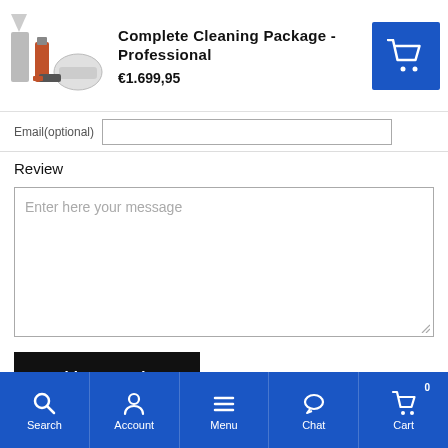Complete Cleaning Package - Professional €1.699,95
Email(optional)
Review
Enter here your message
Add your review
Related products
[Figure (photo): Orange cleaning product on left, spray tool on right]
Search | Account | Menu | Chat | Cart 0